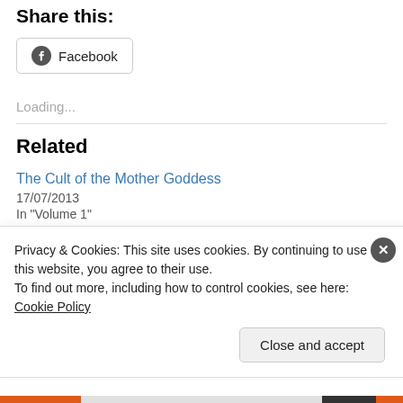Share this:
[Figure (other): Facebook share button with Facebook icon]
Loading...
Related
The Cult of the Mother Goddess
17/07/2013
In "Volume 1"
Privacy & Cookies: This site uses cookies. By continuing to use this website, you agree to their use.
To find out more, including how to control cookies, see here: Cookie Policy
Close and accept